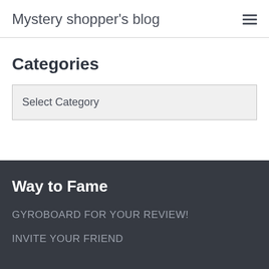Mystery shopper's blog
Categories
Select Category
Way to Fame
GYROBOARD FOR YOUR REVIEW!
INVITE YOUR FRIEND